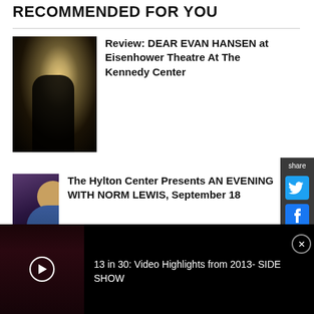RECOMMENDED FOR YOU
[Figure (photo): Theatrical photo for Dear Evan Hansen review - spotlight on figure on stage]
Review: DEAR EVAN HANSEN at Eisenhower Theatre At The Kennedy Center
[Figure (photo): Photo of Norm Lewis in blue jacket against dark background]
The Hylton Center Presents AN EVENING WITH NORM LEWIS, September 18
[Figure (photo): Adventure Theatre MTC logo - globe illustration in red and yellow]
Adventure Theatre MTC Announces New Artistic
[Figure (photo): Video thumbnail showing two women in red dresses for 13 in 30: Video Highlights from 2013- SIDE SHOW]
13 in 30: Video Highlights from 2013- SIDE SHOW